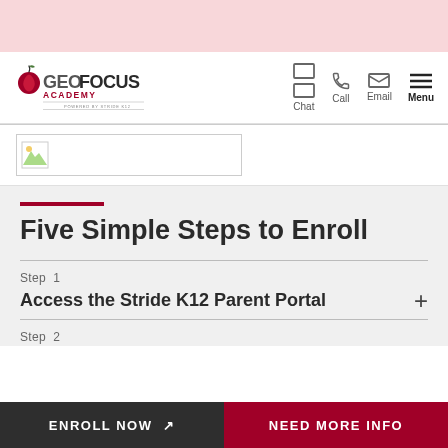[Figure (logo): GeoFocus Academy logo powered by Stride K12 with apple icon]
Chat  Call  Email  Menu
[Figure (photo): Banner image placeholder]
Five Simple Steps to Enroll
Step 1
Access the Stride K12 Parent Portal
Step 2
ENROLL NOW
NEED MORE INFO